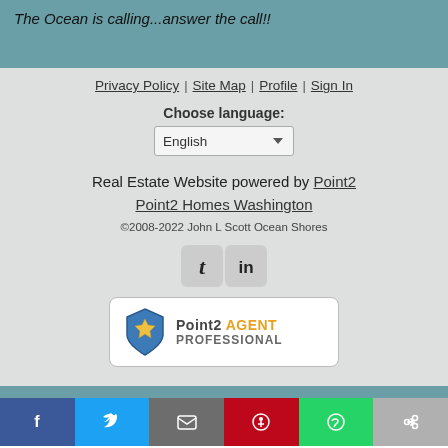The Ocean is calling...answer the call!!
Privacy Policy | Site Map | Profile | Sign In
Choose language:
Real Estate Website powered by Point2
Point2 Homes Washington
©2008-2022 John L Scott Ocean Shores
[Figure (logo): Twitter and LinkedIn social media icons]
[Figure (logo): Point2 Agent Professional badge logo]
Facebook | Twitter | Email | Pinterest | WhatsApp | Link share buttons